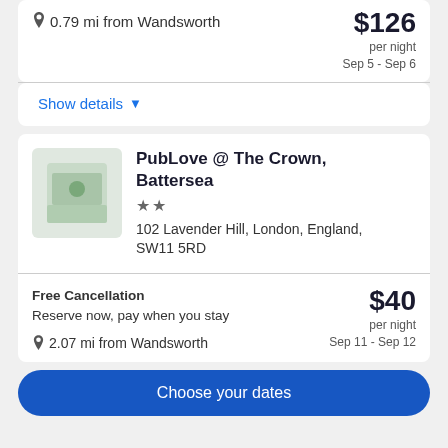0.79 mi from Wandsworth
$126 per night Sep 5 - Sep 6
Show details
PubLove @ The Crown, Battersea
★★
102 Lavender Hill, London, England, SW11 5RD
Free Cancellation
Reserve now, pay when you stay
$40 per night Sep 11 - Sep 12
2.07 mi from Wandsworth
Choose your dates